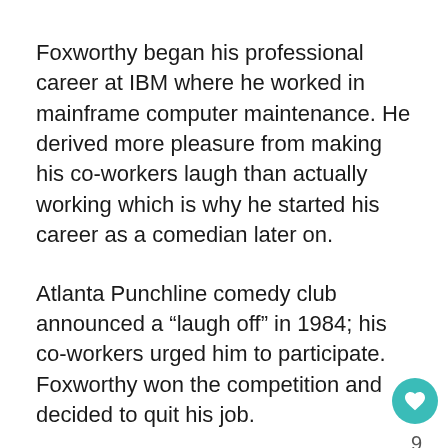Foxworthy began his professional career at IBM where he worked in mainframe computer maintenance. He derived more pleasure from making his co-workers laugh than actually working which is why he started his career as a comedian later on.
Atlanta Punchline comedy club announced a “laugh off” in 1984; his co-workers urged him to participate. Foxworthy won the competition and decided to quit his job.
He developed a unique comedic style throughout his career that made him one of the best comedians in the industry. Foxworthy released a comedy album “You Might Be A Redneck If… in 1993 which was ranked at No. 38 on the Billboard